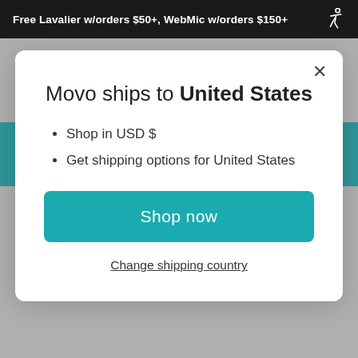Free Lavalier w/orders $50+, WebMic w/orders $150+
Movo ships to United States
Shop in USD $
Get shipping options for United States
Shop now
Change shipping country